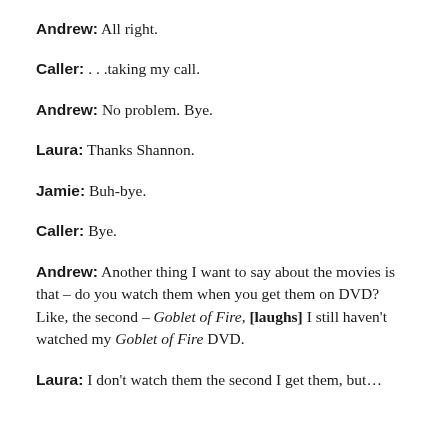Andrew: All right.
Caller: . . .taking my call.
Andrew: No problem. Bye.
Laura: Thanks Shannon.
Jamie: Buh-bye.
Caller: Bye.
Andrew: Another thing I want to say about the movies is that – do you watch them when you get them on DVD? Like, the second – Goblet of Fire, [laughs] I still haven't watched my Goblet of Fire DVD.
Laura: I don't watch them the second I get them, but…